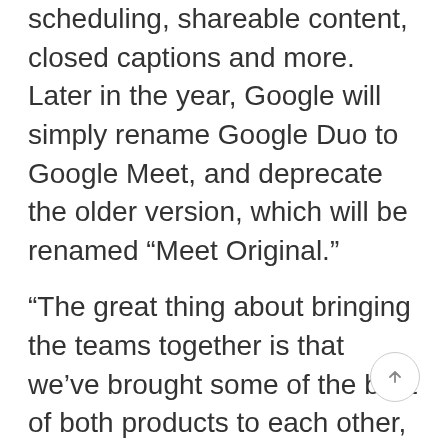scheduling, shareable content, closed captions and more. Later in the year, Google will simply rename Google Duo to Google Meet, and deprecate the older version, which will be renamed “Meet Original.”
“The great thing about bringing the teams together is that we’ve brought some of the best of both products to each other, strengthened the foundation and … it’s now fairly straightforward because of the work we’ve done over the last few years to take that final step and actually bring them fully together,” Dave Citron, Google’s director of product management, explained to TechCrunch.
If this sounds confusing, well, you’re not alone.